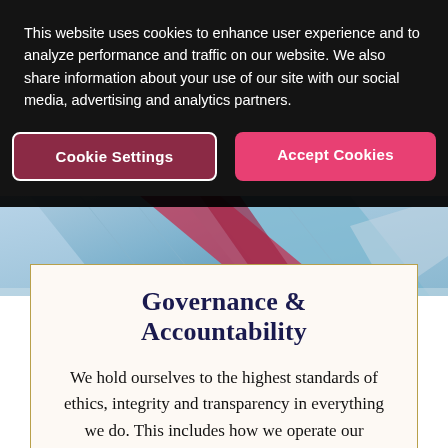This website uses cookies to enhance user experience and to analyze performance and traffic on our website. We also share information about your use of our site with our social media, advertising and analytics partners.
Cookie Settings
Accept Cookies
[Figure (photo): Aerial or close-up photo of a modern glass building facade with angular red structural elements against a blue sky.]
Governance & Accountability
We hold ourselves to the highest standards of ethics, integrity and transparency in everything we do. This includes how we operate our business, what we expect of our suppliers and